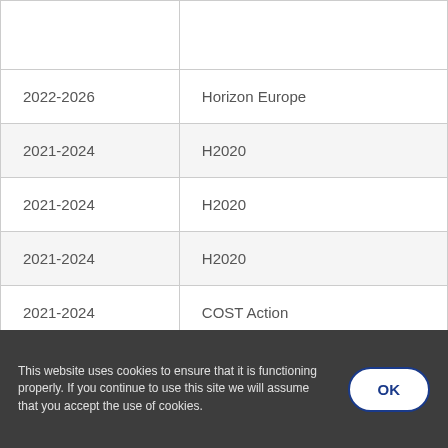|  |  |
| 2022-2026 | Horizon Europe |
| 2021-2024 | H2020 |
| 2021-2024 | H2020 |
| 2021-2024 | H2020 |
| 2021-2024 | COST Action |
| 2021-2024 | COST Action |
| 2020-2023 | H2020 |
This website uses cookies to ensure that it is functioning properly. If you continue to use this site we will assume that you accept the use of cookies.